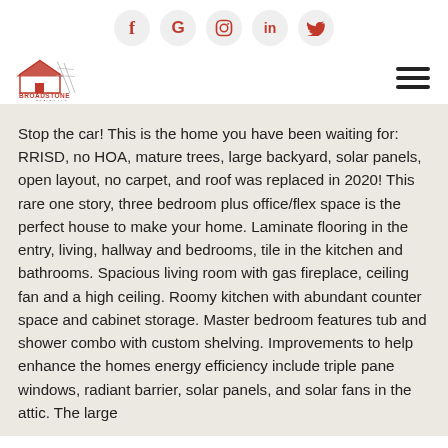[Figure (logo): Social media icons in circles: Facebook (f), Google (G), Instagram, LinkedIn (in), Twitter bird]
[Figure (logo): Broadstone Realty LLC logo — house with pylons graphic and red text]
Stop the car! This is the home you have been waiting for: RRISD, no HOA, mature trees, large backyard, solar panels, open layout, no carpet, and roof was replaced in 2020! This rare one story, three bedroom plus office/flex space is the perfect house to make your home. Laminate flooring in the entry, living, hallway and bedrooms, tile in the kitchen and bathrooms. Spacious living room with gas fireplace, ceiling fan and a high ceiling. Roomy kitchen with abundant counter space and cabinet storage. Master bedroom features tub and shower combo with custom shelving. Improvements to help enhance the homes energy efficiency include triple pane windows, radiant barrier, solar panels, and solar fans in the attic. The large